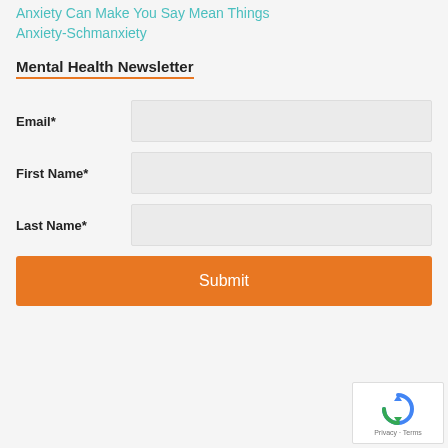Anxiety Can Make You Say Mean Things
Anxiety-Schmanxiety
Mental Health Newsletter
Email*
First Name*
Last Name*
Submit
[Figure (logo): reCAPTCHA logo with circular arrow icon and Privacy - Terms text]